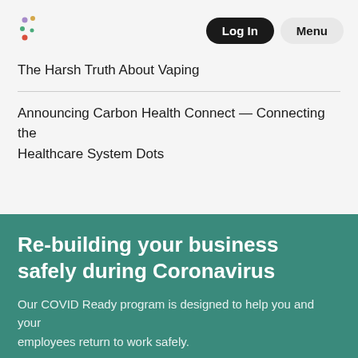[Figure (logo): Carbon Health logo — colorful dots arranged in a pattern (green, yellow, red, purple)]
The Harsh Truth About Vaping
Announcing Carbon Health Connect — Connecting the Healthcare System Dots
Re-building your business safely during Coronavirus
Our COVID Ready program is designed to help you and your employees return to work safely.